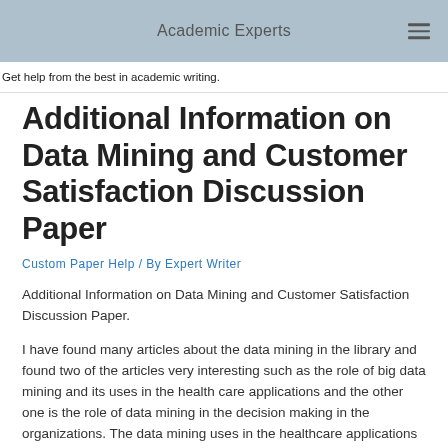Academic Experts
Get help from the best in academic writing.
Additional Information on Data Mining and Customer Satisfaction Discussion Paper
Custom Paper Help / By Expert Writer
Additional Information on Data Mining and Customer Satisfaction Discussion Paper.
I have found many articles about the data mining in the library and found two of the articles very interesting such as the role of big data mining and its uses in the health care applications and the other one is the role of data mining in the decision making in the organizations. The data mining uses in the healthcare applications